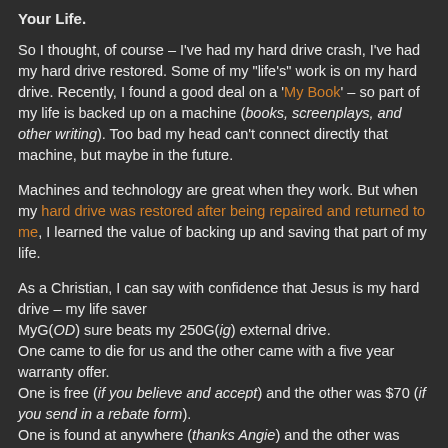Your Life.
So I thought, of course – I've had my hard drive crash, I've had my hard drive restored. Some of my "life's" work is on my hard drive. Recently, I found a good deal on a 'My Book' – so part of my life is backed up on a machine (books, screenplays, and other writing). Too bad my head can't connect directly that machine, but maybe in the future.
Machines and technology are great when they work. But when my hard drive was restored after being repaired and returned to me, I learned the value of backing up and saving that part of my life.
As a Christian, I can say with confidence that Jesus is my hard drive – my life saver
MyG(OD) sure beats my 250G(ig) external drive.
One came to die for us and the other came with a five year warranty offer.
One is free (if you believe and accept) and the other was $70 (if you send in a rebate form).
One is found at anywhere (thanks Angie) and the other was